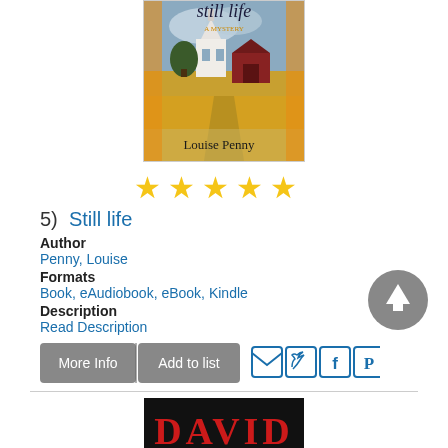[Figure (photo): Book cover of 'Still Life' by Louise Penny, showing a scenic New England village with a church and red barn, yellow/orange colors]
[Figure (other): Five gold/yellow star rating icons]
5)  Still life
Author
Penny, Louise
Formats
Book, eAudiobook, eBook, Kindle
Description
Read Description
[Figure (other): Action buttons: More Info, Add to list, and social sharing icons (email, twitter, facebook, pinterest)]
[Figure (other): Grey circular up/back-to-top arrow button]
[Figure (photo): Partial view of another book cover showing 'DAVID' in red text on black background]